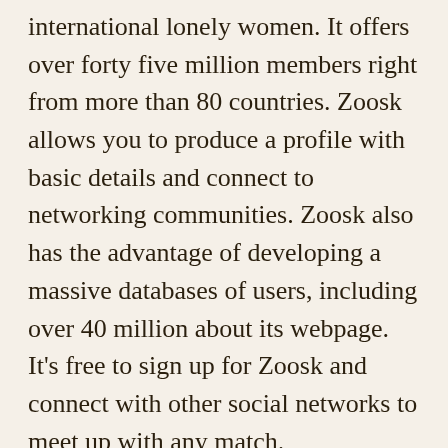international lonely women. It offers over forty five million members right from more than 80 countries. Zoosk allows you to produce a profile with basic details and connect to networking communities. Zoosk also has the advantage of developing a massive databases of users, including over 40 million about its webpage. It's free to sign up for Zoosk and connect with other social networks to meet up with any match.
If you decide to just try intercontinental online dating, be aware of the risks. First of all, foreign dating takes a lot of expense on both sides. Because the lifestyle of your spouse is different from yours, you can